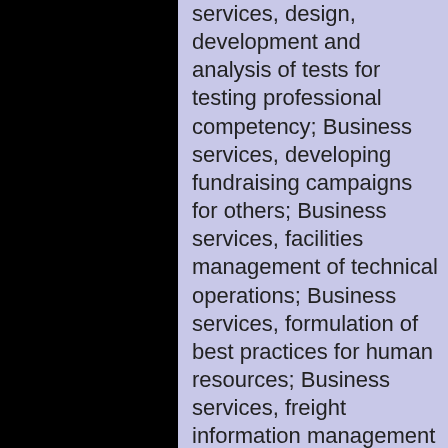services, design, development and analysis of tests for testing professional competency; Business services, developing fundraising campaigns for others; Business services, facilities management of technical operations; Business services, formulation of best practices for human resources; Business services, freight information management services, shipment processing, preparing shipping documents and invoices, tracking documents, packages and freight over computer networks, intranets and Internets; Business services, independent medical management services for self-funded major medical health plans; Business services, management of air and water processing systems and facilities for others; Business services, matching potential private investors with entrepreneurs needing funding;